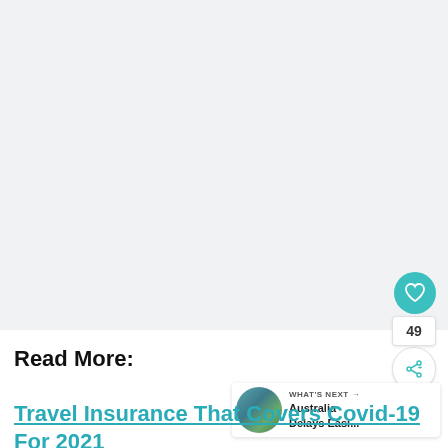[Figure (photo): Large image placeholder area with light gray background, occupying the top portion of the page]
[Figure (infographic): Heart/like button (teal circle with heart icon), count badge showing 49, and share button (circle with share icon) on the right side]
Read More:
[Figure (infographic): What's Next widget with thumbnail photo of Australian landscape, label 'WHAT'S NEXT →', and title 'Australia Delays Easi...']
Travel Insurance That Covers Covid-19 For 2021